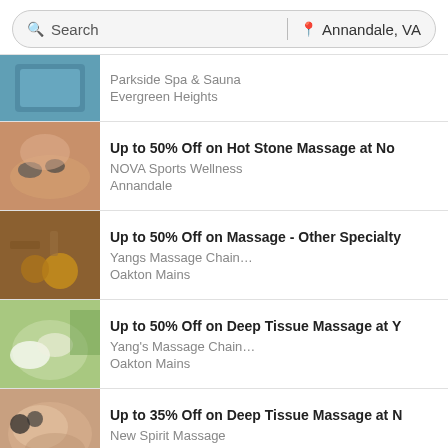Search | Annandale, VA
Parkside Spa & Sauna
Evergreen Heights
Up to 50% Off on Hot Stone Massage at No...
NOVA Sports Wellness
Annandale
Up to 50% Off on Massage - Other Specialty...
Yangs Massage Chain...
Oakton Mains
Up to 50% Off on Deep Tissue Massage at Y...
Yang's Massage Chain...
Oakton Mains
Up to 35% Off on Deep Tissue Massage at N...
New Spirit Massage
Springfield